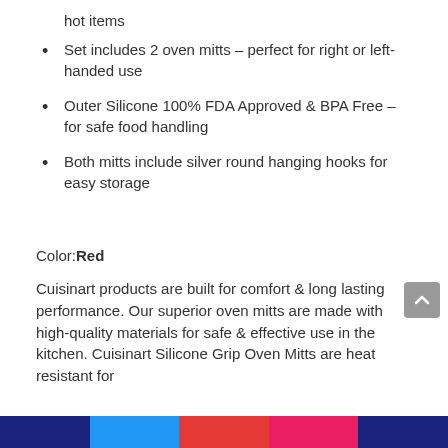hot items
Set includes 2 oven mitts – perfect for right or left-handed use
Outer Silicone 100% FDA Approved & BPA Free – for safe food handling
Both mitts include silver round hanging hooks for easy storage
Color: Red
Cuisinart products are built for comfort & long lasting performance. Our superior oven mitts are made with high-quality materials for safe & effective use in the kitchen. Cuisinart Silicone Grip Oven Mitts are heat resistant for